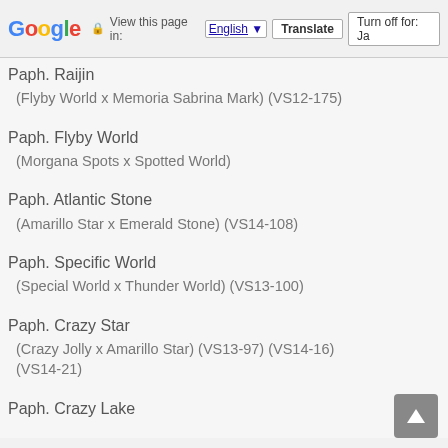Google — View this page in: English [▼] Translate | Turn off for: Ja
Paph. Raijin
 (Flyby World x Memoria Sabrina Mark) (VS12-175)
Paph. Flyby World
 (Morgana Spots x Spotted World)
Paph. Atlantic Stone
 (Amarillo Star x Emerald Stone) (VS14-108)
Paph. Specific World
 (Special World x Thunder World) (VS13-100)
Paph. Crazy Star
 (Crazy Jolly x Amarillo Star) (VS13-97) (VS14-16) (VS14-21)
Paph. Crazy Lake